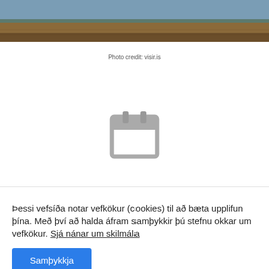[Figure (photo): Landscape photo showing a body of water and brown grassy terrain under overcast sky]
Photo credit: visir.is
[Figure (illustration): Gray calendar icon with two tab rings at top and a white square body]
Þessi vefsíða notar vefkökur (cookies) til að bæta upplifun þína. Með því að halda áfram samþykkir þú stefnu okkar um vefkökur. Sjá nánar um skilmála
Samþykkja